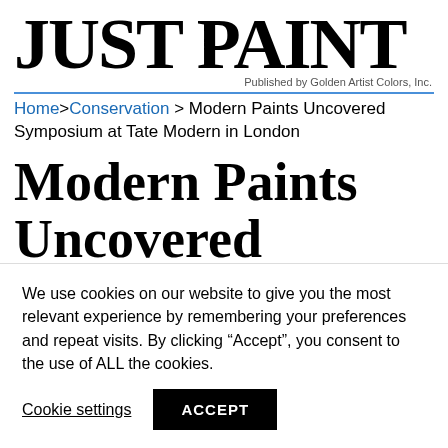JUST PAINT — Published by Golden Artist Colors, Inc.
Home > Conservation > Modern Paints Uncovered Symposium at Tate Modern in London
Modern Paints Uncovered Symposium at Tate Modern
We use cookies on our website to give you the most relevant experience by remembering your preferences and repeat visits. By clicking “Accept”, you consent to the use of ALL the cookies.
Cookie settings | ACCEPT